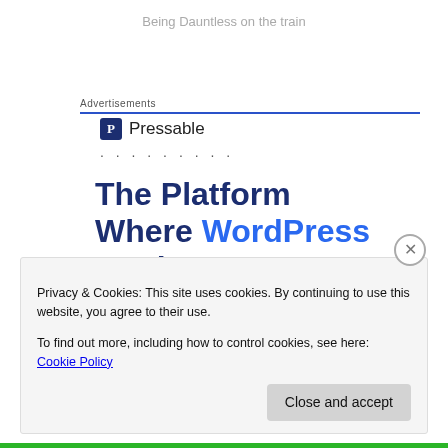Being Dauntless on the train
Advertisements
[Figure (logo): Pressable logo with square P icon and text 'Pressable', followed by dotted line]
The Platform Where WordPress Works Best
Privacy & Cookies: This site uses cookies. By continuing to use this website, you agree to their use.
To find out more, including how to control cookies, see here: Cookie Policy

Close and accept